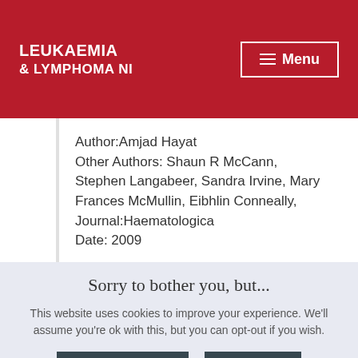[Figure (logo): Leukaemia & Lymphoma NI logo with red background and white text, plus Menu button]
Author:Amjad Hayat
Other Authors: Shaun R McCann, Stephen Langabeer, Sandra Irvine, Mary Frances McMullin, Eibhlin Conneally,
Journal:Haematologica
Date: 2009
Sorry to bother you, but...
This website uses cookies to improve your experience. We'll assume you're ok with this, but you can opt-out if you wish.
Cookie settings   ACCEPT